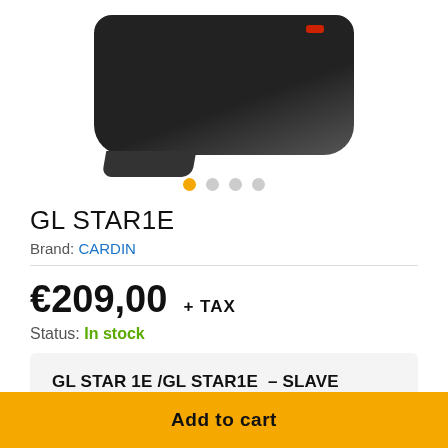[Figure (photo): Product photo of GL STAR1E black garage door motor unit, shown from front-top angle on white background]
GL STAR1E
Brand: CARDIN
€209,00  + TAX
Status: In stock
GL STAR 1E /GL STAR1E  – SLAVE SELF–LOCKING SWINGING GARAGE DOOR MOTOR 230V
Add to cart